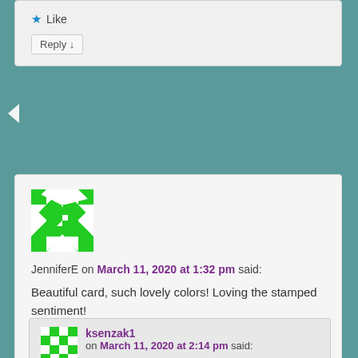Like
Reply ↓
[Figure (illustration): Green and white geometric identicon avatar for JenniferE]
JenniferE on March 11, 2020 at 1:32 pm said:
Beautiful card, such lovely colors! Loving the stamped sentiment!
Like
Reply ↓
[Figure (illustration): Small green and white geometric identicon avatar for ksenzak1]
ksenzak1 on March 11, 2020 at 2:14 pm said: